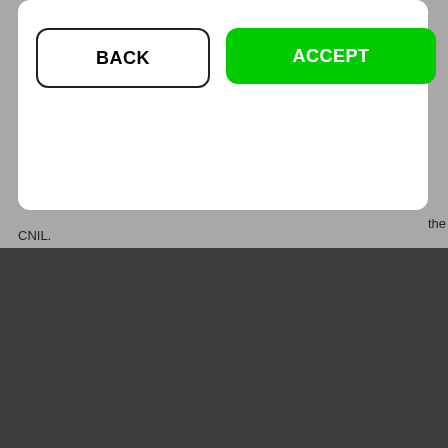[Figure (screenshot): Mobile app dialog with BACK and ACCEPT buttons on a white modal card over a gray background]
the CNIL.
[Figure (logo): SMLB Store logo with colored bars, subtitle LA MARKETPLACE ALTERNATIVE, and tagline Smlb Store is a brand from SMLB Group]